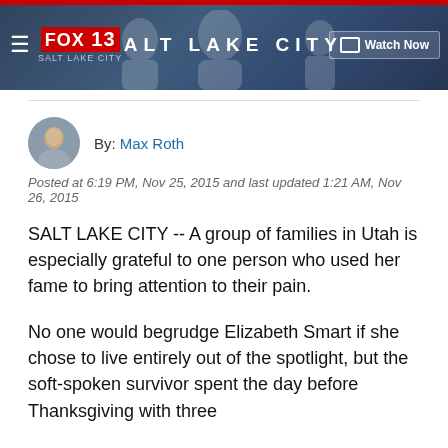[Figure (screenshot): FOX 13 Salt Lake City website header/navigation bar with dark blue background, FOX 13 logo, SALT LAKE CITY text, and Watch Now button]
By: Max Roth
Posted at 6:19 PM, Nov 25, 2015 and last updated 1:21 AM, Nov 26, 2015
SALT LAKE CITY -- A group of families in Utah is especially grateful to one person who used her fame to bring attention to their pain.
No one would begrudge Elizabeth Smart if she chose to live entirely out of the spotlight, but the soft-spoken survivor spent the day before Thanksgiving with three